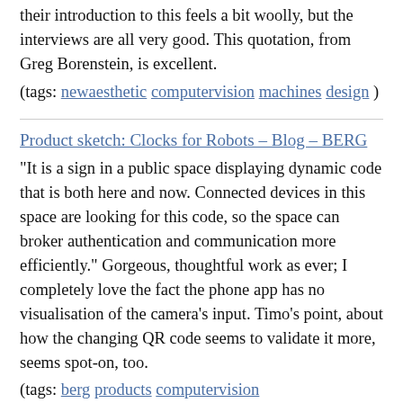their introduction to this feels a bit woolly, but the interviews are all very good. This quotation, from Greg Borenstein, is excellent.
(tags: newaesthetic computervision machines design )
Product sketch: Clocks for Robots – Blog – BERG
"It is a sign in a public space displaying dynamic code that is both here and now. Connected devices in this space are looking for this code, so the space can broker authentication and communication more efficiently." Gorgeous, thoughtful work as ever; I completely love the fact the phone app has no visualisation of the camera's input. Timo's point, about how the changing QR code seems to validate it more, seems spot-on, too.
(tags: berg products computervision robotreadableword clocks )
The Subtle Art of Making Other Clocks – Blog – BERG